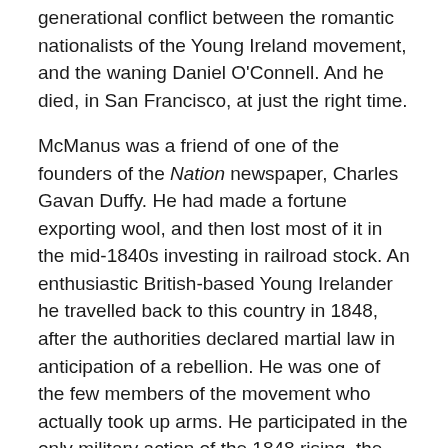generational conflict between the romantic nationalists of the Young Ireland movement, and the waning Daniel O'Connell. And he died, in San Francisco, at just the right time.
McManus was a friend of one of the founders of the Nation newspaper, Charles Gavan Duffy. He had made a fortune exporting wool, and then lost most of it in the mid-1840s investing in railroad stock. An enthusiastic British-based Young Irelander he travelled back to this country in 1848, after the authorities declared martial law in anticipation of a rebellion. He was one of the few members of the movement who actually took up arms. He participated in the only military action of the 1848 rising, the infamous skirmish at the Widow McCormack's cottage in Ballingarry, Co. Tipperary. He eluded capture in Ireland, and returned